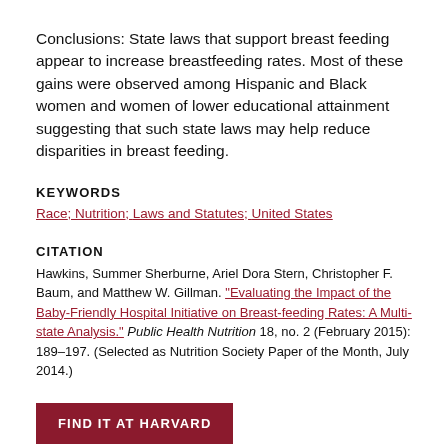Conclusions: State laws that support breast feeding appear to increase breastfeeding rates. Most of these gains were observed among Hispanic and Black women and women of lower educational attainment suggesting that such state laws may help reduce disparities in breast feeding.
KEYWORDS
Race; Nutrition; Laws and Statutes; United States
CITATION
Hawkins, Summer Sherburne, Ariel Dora Stern, Christopher F. Baum, and Matthew W. Gillman. "Evaluating the Impact of the Baby-Friendly Hospital Initiative on Breast-feeding Rates: A Multi-state Analysis." Public Health Nutrition 18, no. 2 (February 2015): 189–197. (Selected as Nutrition Society Paper of the Month, July 2014.)
FIND IT AT HARVARD